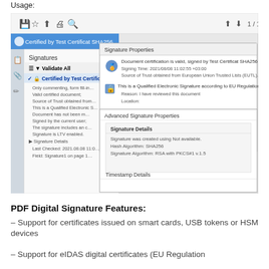Usage:
[Figure (screenshot): Screenshot of a PDF viewer showing digital signature validation panel on the left side (Certified by Test Certificat SHA256, Signatures, Validate All, signature details) and two overlapping dialog boxes on the right: 'Signature Properties' showing Document certification is valid, signed by Test Certificat SHA256; Signing Time: 2021/08/08 11:02:55 +03:00; Source of Trust obtained from European Union Trusted Lists (EUTL); This is a Qualified Electronic Signature according to EU Regulation 910/2014; Reason: I have reviewed this document; Location: — and 'Advanced Signature Properties' with Signature Details: Signature was created using Not available; Hash Algorithm: SHA256; Signature Algorithm: RSA with PKCS#1 v.1.5; Timestamp Details.]
PDF Digital Signature Features:
– Support for certificates issued on smart cards, USB tokens or HSM devices
– Support for eIDAS digital certificates (EU Regulation